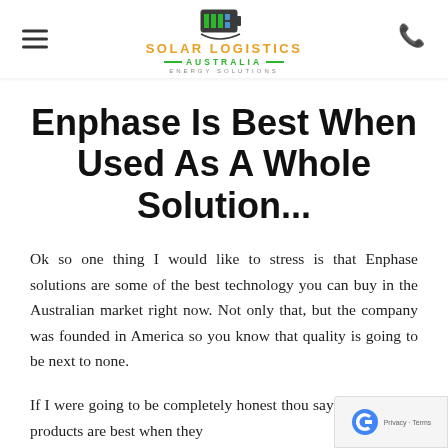Solar Logistics Australia Energy Solutions
Enphase Is Best When Used As A Whole Solution...
Ok so one thing I would like to stress is that Enphase solutions are some of the best technology you can buy in the Australian market right now. Not only that, but the company was founded in America so you know that quality is going to be next to none.
If I were going to be completely honest though say that Enphase products are best when they